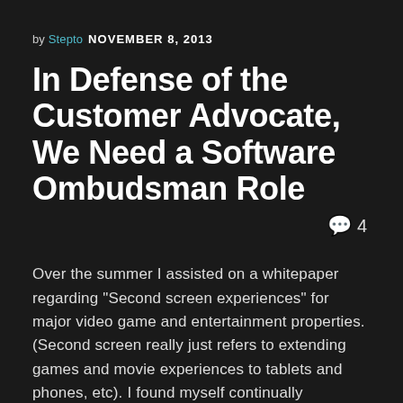by Stepto  NOVEMBER 8, 2013
In Defense of the Customer Advocate, We Need a Software Ombudsman Role
💬 4
Over the summer I assisted on a whitepaper regarding "Second screen experiences" for major video game and entertainment properties. (Second screen really just refers to extending games and movie experiences to tablets and phones, etc). I found myself continually surprised over major property holders' reticence to actually own this, rather than simply do "me too" features developed by outsourced dev houses. To put